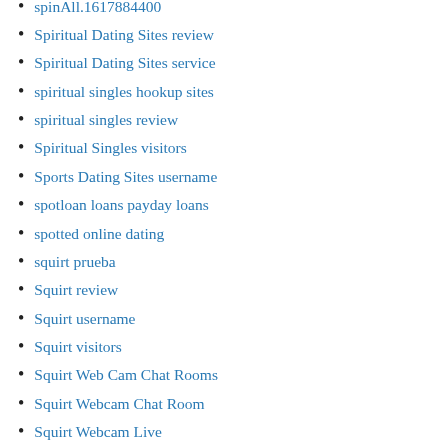spinAll.1617884400
Spiritual Dating Sites review
Spiritual Dating Sites service
spiritual singles hookup sites
spiritual singles review
Spiritual Singles visitors
Sports Dating Sites username
spotloan loans payday loans
spotted online dating
squirt prueba
Squirt review
Squirt username
Squirt visitors
Squirt Web Cam Chat Rooms
Squirt Webcam Chat Room
Squirt Webcam Live